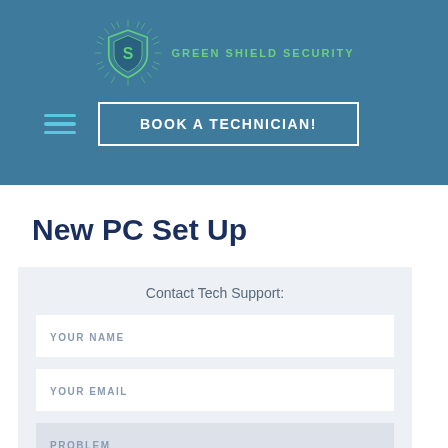[Figure (logo): Green Shield Security logo: a teal/green shield icon with radiating lines and a stylized key/S icon, with text 'GREEN SHIELD SECURITY' to the right]
BOOK A TECHNICIAN!
New PC Set Up
Contact Tech Support:
YOUR NAME
YOUR EMAIL
PROBLEM